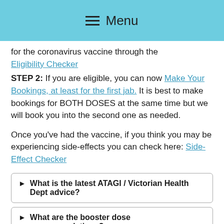Menu
for the coronavirus vaccine through the Eligibility Checker
STEP 2: If you are eligible, you can now Make Your Bookings, at least for the first jab. It is best to make bookings for BOTH DOSES at the same time but we will book you into the second one as needed.
Once you've had the vaccine, if you think you may be experiencing side-effects you can check here: Side-Effect Checker
▶ What is the latest ATAGI / Victorian Health Dept advice?
▶ What are the booster dose recommendations?